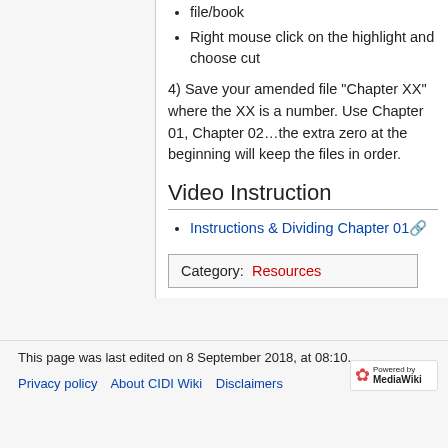file/book
Right mouse click on the highlight and choose cut
4) Save your amended file “Chapter XX” where the XX is a number. Use Chapter 01, Chapter 02…the extra zero at the beginning will keep the files in order.
Video Instruction
Instructions & Dividing Chapter 01
Category:  Resources
This page was last edited on 8 September 2018, at 08:10.
Privacy policy  About CIDI Wiki  Disclaimers